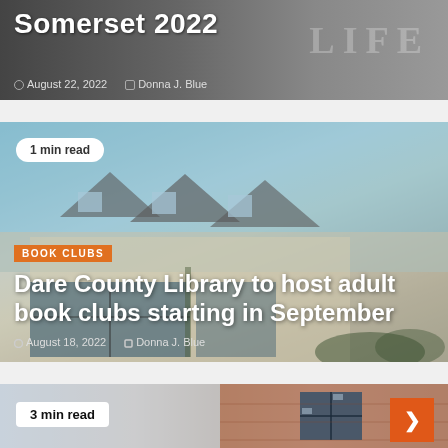[Figure (photo): Partial top of article card showing title 'Somerset 2022' with LIFE watermark, date August 22 2022, author Donna J. Blue]
Somerset 2022
August 22, 2022  Donna J. Blue
[Figure (photo): Library building with dormers and large glass windows, blue sky background, article card for Dare County Library book clubs story]
1 min read
BOOK CLUBS
Dare County Library to host adult book clubs starting in September
August 18, 2022  Donna J. Blue
[Figure (photo): Partial bottom article card showing brick building exterior with blue windows, '3 min read' badge and orange arrow button]